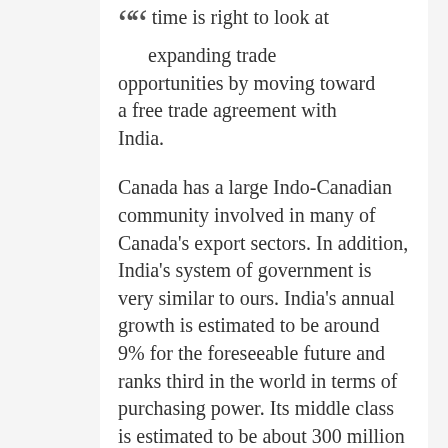time is right to look at expanding trade opportunities by moving toward a free trade agreement with India.
Canada has a large Indo-Canadian community involved in many of Canada's export sectors. In addition, India's system of government is very similar to ours. India's annual growth is estimated to be around 9% for the foreseeable future and ranks third in the world in terms of purchasing power. Its middle class is estimated to be about 300 million people and growing, the majority of which are English-speaking, making free trade negotiations strategically